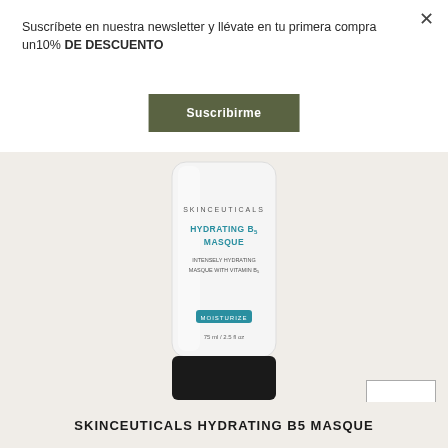Suscríbete en nuestra newsletter y llévate en tu primera compra un10% DE DESCUENTO
Suscribirme
[Figure (photo): SkinCeuticals Hydrating B5 Masque product tube — white squeeze tube with black cap, teal text label reading HYDRATING B5 MASQUE, INTENSELY HYDRATING MASQUE WITH VITAMIN B5, MOISTURIZE badge, 75 ml / 2.5 fl oz]
SUBIR
SKINCEUTICALS HYDRATING B5 MASQUE